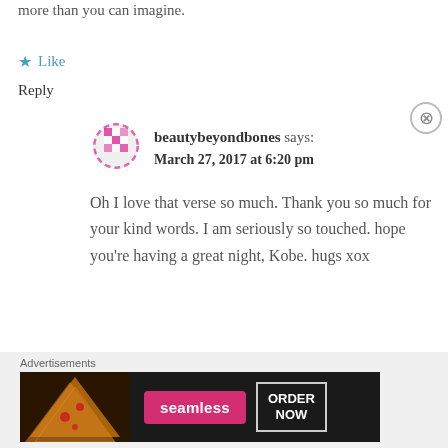more than you can imagine.
★ Like
Reply
beautybeyondbones says: March 27, 2017 at 6:20 pm
Oh I love that verse so much. Thank you so much for your kind words. I am seriously so touched. hope you're having a great night, Kobe. hugs xox
Advertisements
[Figure (screenshot): Seamless food delivery advertisement banner with pizza image, seamless logo button, and ORDER NOW button on dark background]